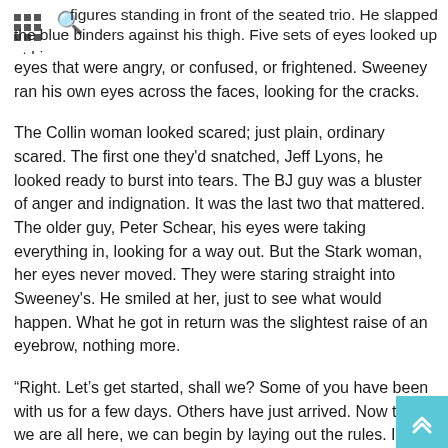figures standing in front of the seated trio. He slapped the blue binders against his thigh. Five sets of eyes looked up at him —
eyes that were angry, or confused, or frightened. Sweeney ran his own eyes across the faces, looking for the cracks.
The Collin woman looked scared; just plain, ordinary scared. The first one they'd snatched, Jeff Lyons, he looked ready to burst into tears. The BJ guy was a bluster of anger and indignation. It was the last two that mattered. The older guy, Peter Schear, his eyes were taking everything in, looking for a way out. But the Stark woman, her eyes never moved. They were staring straight into Sweeney's. He smiled at her, just to see what would happen. What he got in return was the slightest raise of an eyebrow, nothing more.
“Right. Let’s get started, shall we? Some of you have been with us for a few days. Others have just arrived. Now that we are all here, we can begin by laying out the rules. I…”
The BJ Reuben character interrupted him, his voice loud and angry.
“What the hell are you talking about? What rules? Are you some kind